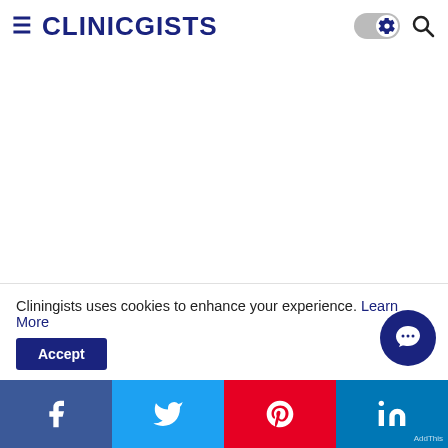CLINICGISTS
Cliningists uses cookies to enhance your experience. Learn More
[Figure (screenshot): Cookie consent banner with Learn More link and accept button]